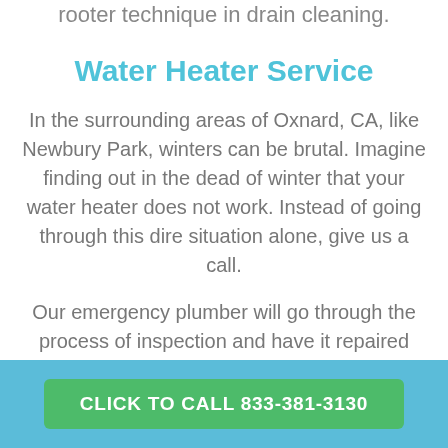rooter technique in drain cleaning.
Water Heater Service
In the surrounding areas of Oxnard, CA, like Newbury Park, winters can be brutal. Imagine finding out in the dead of winter that your water heater does not work. Instead of going through this dire situation alone, give us a call.
Our emergency plumber will go through the process of inspection and have it repaired
CLICK TO CALL 833-381-3130